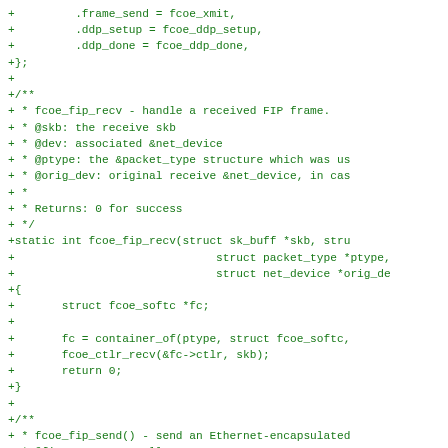[Figure (screenshot): Source code diff showing C code additions for FCoE (Fibre Channel over Ethernet) driver functions including frame_send, ddp_setup, ddp_done fields, fcoe_fip_recv function definition with documentation comments, and fcoe_fip_send function documentation start.]